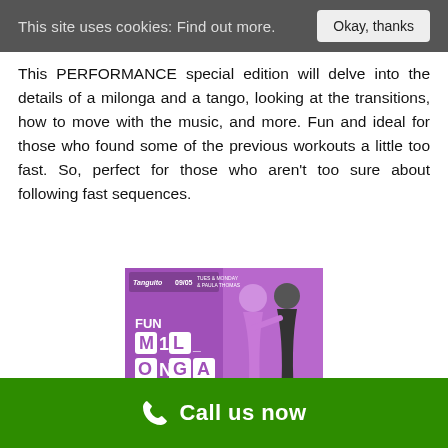This site uses cookies: Find out more. Okay, thanks
This PERFORMANCE special edition will delve into the details of a milonga and a tango, looking at the transitions, how to move with the music, and more. Fun and ideal for those who found some of the previous workouts a little too fast. So, perfect for those who aren't too sure about following fast sequences.
[Figure (photo): Purple promotional image for '09/05 Fun Milonga Lisa and Traspie Pt.II' event showing two tango dancers and text 'FUN MILONGA LISA & TRASPIE PT.II' with event details and tanguito.co.uk/live]
09/05 Fun Milonga Lisa and Traspie, Part II
Call us now